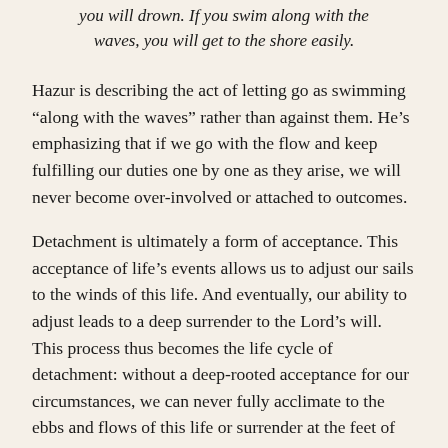you will drown. If you swim along with the waves, you will get to the shore easily.
Hazur is describing the act of letting go as swimming “along with the waves” rather than against them. He’s emphasizing that if we go with the flow and keep fulfilling our duties one by one as they arise, we will never become over-involved or attached to outcomes.
Detachment is ultimately a form of acceptance. This acceptance of life’s events allows us to adjust our sails to the winds of this life. And eventually, our ability to adjust leads to a deep surrender to the Lord’s will. This process thus becomes the life cycle of detachment: without a deep-rooted acceptance for our circumstances, we can never fully acclimate to the ebbs and flows of this life or surrender at the feet of the Lord to ultimately escape the clutches of this world.